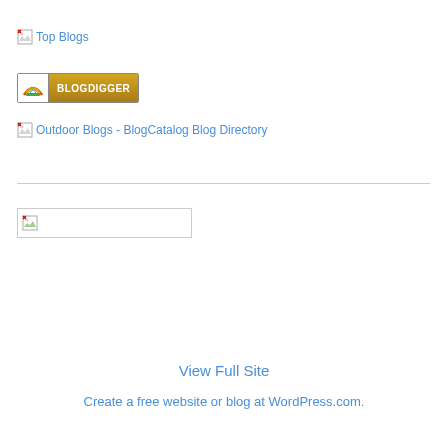[Figure (other): Broken image placeholder with alt text 'Top Blogs' shown as image link]
[Figure (other): BlogDigger badge/logo - gold colored badge with rainbow icon and BLOGDIGGER text]
[Figure (other): Broken image placeholder with alt text 'Outdoor Blogs - BlogCatalog Blog Directory']
[Figure (other): Broken image placeholder widget, small icon with empty white rectangle outline]
View Full Site
Create a free website or blog at WordPress.com.